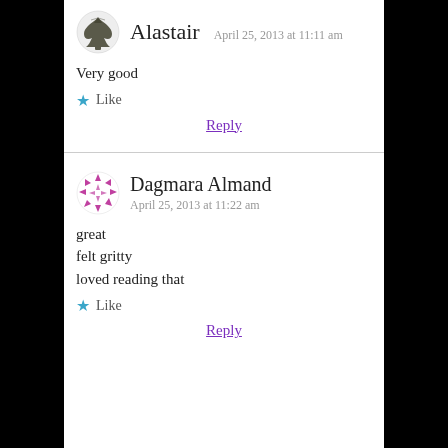Alastair  April 25, 2013 at 11:11 am
Very good
Like
Reply
Dagmara Almand  April 25, 2013 at 11:22 am
great
felt gritty
loved reading that
Like
Reply